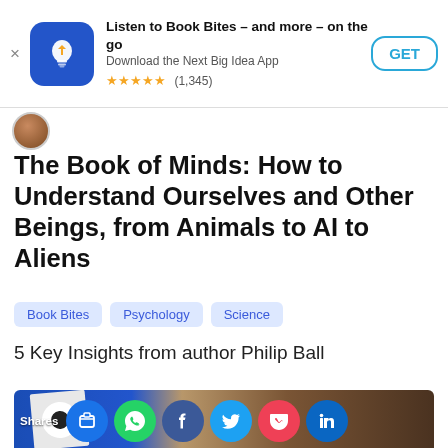Listen to Book Bites – and more – on the go
Download the Next Big Idea App
★★★★★ (1,345)  GET
The Book of Minds: How to Understand Ourselves and Other Beings, from Animals to AI to Aliens
Book Bites
Psychology
Science
5 Key Insights from author Philip Ball
[Figure (photo): Photo of Philip Ball and book cover of The Book of Minds, with social sharing icons overlaid at bottom]
Shares